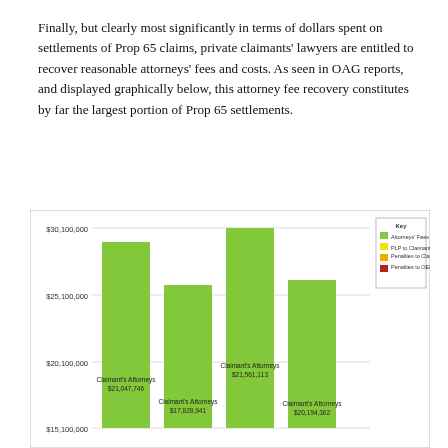Finally, but clearly most significantly in terms of dollars spent on settlements of Prop 65 claims, private claimants' lawyers are entitled to recover reasonable attorneys' fees and costs. As seen in OAG reports, and displayed graphically below, this attorney fee recovery constitutes by far the largest portion of Prop 65 settlements.
[Figure (bar-chart): ]